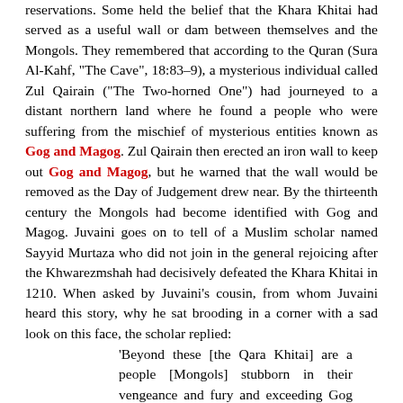reservations. Some held the belief that the Khara Khitai had served as a useful wall or dam between themselves and the Mongols. They remembered that according to the Quran (Sura Al-Kahf, "The Cave", 18:83–9), a mysterious individual called Zul Qairain ("The Two-horned One") had journeyed to a distant northern land where he found a people who were suffering from the mischief of mysterious entities known as Gog and Magog. Zul Qairain then erected an iron wall to keep out Gog and Magog, but he warned that the wall would be removed as the Day of Judgement drew near. By the thirteenth century the Mongols had become identified with Gog and Magog. Juvaini goes on to tell of a Muslim scholar named Sayyid Murtaza who did not join in the general rejoicing after the Khwarezmshah had decisively defeated the Khara Khitai in 1210. When asked by Juvaini's cousin, from whom Juvaini heard this story, why he sat brooding in a corner with a sad look on this face, the scholar replied:
'Beyond these [the Qara Khitai] are a people [Mongols] stubborn in their vengeance and fury and exceeding Gog and Magog. And the people of Khitai are a iron to the wall of Zul Qairain...